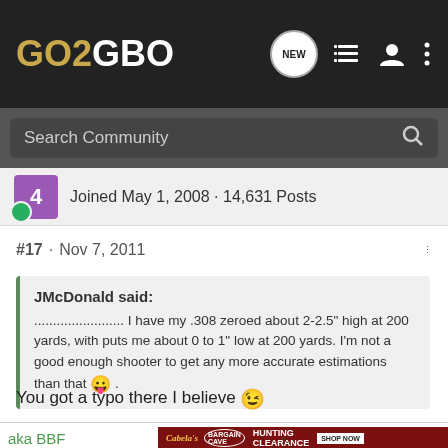GO2GBO
Search Community
Joined May 1, 2008 · 14,631 Posts
#17 · Nov 7, 2011
JMcDonald said: ........................ I have my .308 zeroed about 2-2.5" high at 200 yards, with puts me about 0 to 1" low at 200 yards. I'm not a good enough shooter to get any more accurate estimations than that 😛 .
You got a typo there I believe 😉
aka BBF
[Figure (other): Cabela's Bargain Cave Hunting Clearance - Shop Now advertisement banner]